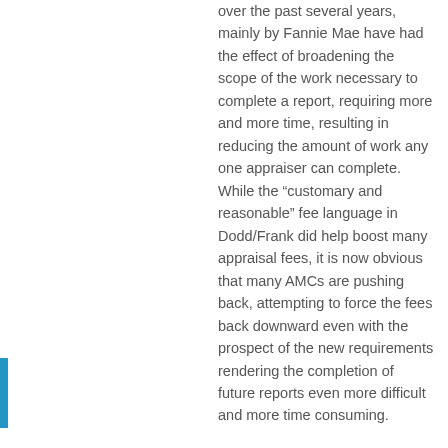over the past several years, mainly by Fannie Mae have had the effect of broadening the scope of the work necessary to complete a report, requiring more and more time, resulting in reducing the amount of work any one appraiser can complete. While the “customary and reasonable” fee language in Dodd/Frank did help boost many appraisal fees, it is now obvious that many AMCs are pushing back, attempting to force the fees back downward even with the prospect of the new requirements rendering the completion of future reports even more difficult and more time consuming.
Of course neither Fannie nor AMCs will acknowledge it, they will claim that they are only interested in improving the valuation process, the net result will likely be even more appraisers throwing up their hands in frustration and leaving the business. For several years now I have